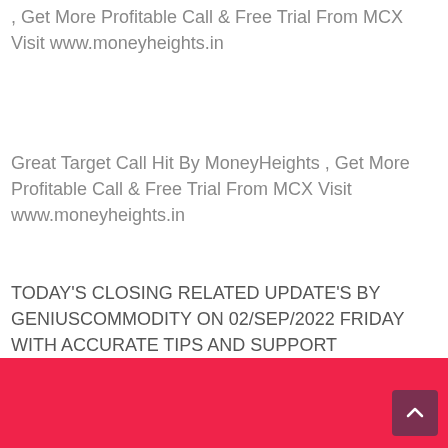, Get More Profitable Call & Free Trial From MCX Visit www.moneyheights.in
Great Target Call Hit By MoneyHeights , Get More Profitable Call & Free Trial From MCX Visit www.moneyheights.in
TODAY'S CLOSING RELATED UPDATE'S BY GENIUSCOMMODITY ON 02/SEP/2022 FRIDAY WITH ACCURATE TIPS AND SUPPORT